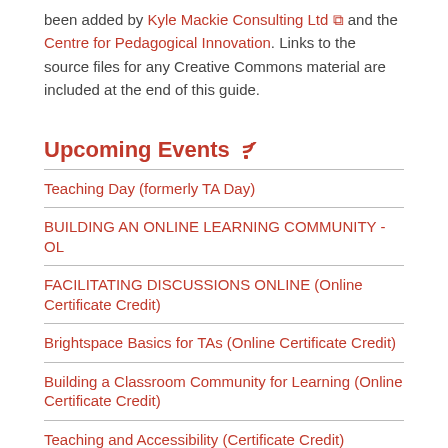been added by Kyle Mackie Consulting Ltd and the Centre for Pedagogical Innovation. Links to the source files for any Creative Commons material are included at the end of this guide.
Upcoming Events
Teaching Day (formerly TA Day)
BUILDING AN ONLINE LEARNING COMMUNITY - OL
FACILITATING DISCUSSIONS ONLINE (Online Certificate Credit)
Brightspace Basics for TAs (Online Certificate Credit)
Building a Classroom Community for Learning (Online Certificate Credit)
Teaching and Accessibility (Certificate Credit)
Mental Health Toolbox for TAs (Certificate Credit)
ACTIVE LEARNING ONLINE (Online Certificate Credit)